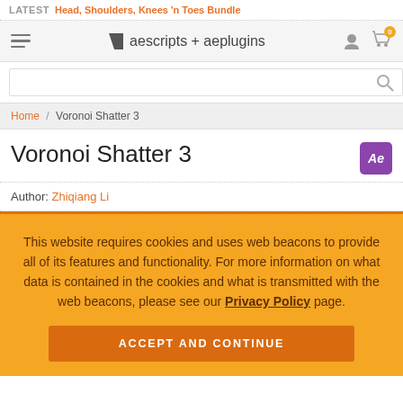LATEST Head, Shoulders, Knees 'n Toes Bundle
[Figure (logo): aescripts + aeplugins logo with navigation icons]
Home / Voronoi Shatter 3
Voronoi Shatter 3
Author: Zhiqiang Li
This website requires cookies and uses web beacons to provide all of its features and functionality. For more information on what data is contained in the cookies and what is transmitted with the web beacons, please see our Privacy Policy page.
ACCEPT AND CONTINUE